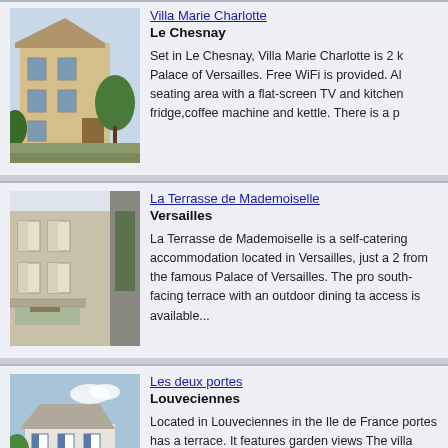[Figure (photo): Yellow villa building with trees and garden, Le Chesnay]
Villa Marie Charlotte
Le Chesnay

Set in Le Chesnay, Villa Marie Charlotte is 2 k Palace of Versailles. Free WiFi is provided. Al seating area with a flat-screen TV and kitchen fridge,coffee machine and kettle. There is a p
[Figure (photo): Building exterior with shuttered windows and balcony terrace, Versailles]
La Terrasse de Mademoiselle
Versailles

La Terrasse de Mademoiselle is a self-catering accommodation located in Versailles, just a 2 from the famous Palace of Versailles. The pro south-facing terrace with an outdoor dining ta access is available...
[Figure (photo): Large white house with blue shutters and courtyard, Louveciennes]
Les deux portes
Louveciennes

Located in Louveciennes in the Ile de France portes has a terrace. It features garden views The villa includes a kitchen with a dishwasher well as a coffee machine. A flat-screen TV is f